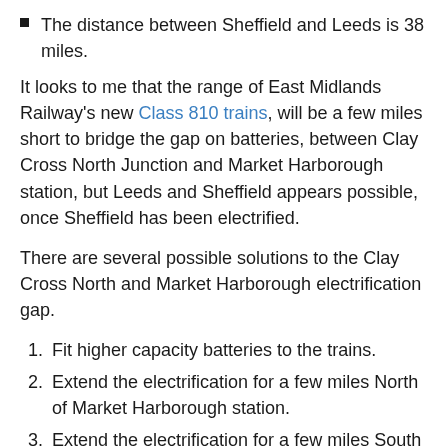The distance between Sheffield and Leeds is 38 miles.
It looks to me that the range of East Midlands Railway's new Class 810 trains, will be a few miles short to bridge the gap on batteries, between Clay Cross North Junction and Market Harborough station, but Leeds and Sheffield appears possible, once Sheffield has been electrified.
There are several possible solutions to the Clay Cross North and Market Harborough electrification gap.
Fit higher capacity batteries to the trains.
Extend the electrification for a few miles North of Market Harborough station.
Extend the electrification for a few miles South of Clay Cross North Junction.
Stop at Derby for a few minutes to charge the batteries.